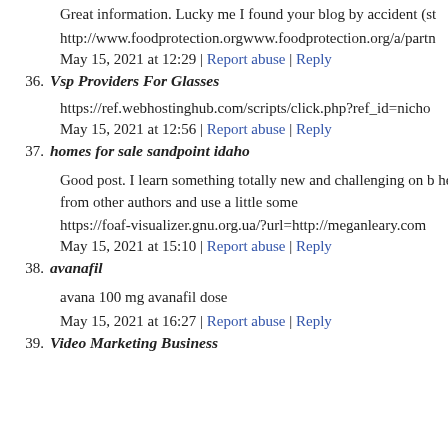Great information. Lucky me I found your blog by accident (st
http://www.foodprotection.orgwww.foodprotection.org/a/partn
May 15, 2021 at 12:29 | Report abuse | Reply
36. Vsp Providers For Glasses
https://ref.webhostinghub.com/scripts/click.php?ref_id=nicho
May 15, 2021 at 12:56 | Report abuse | Reply
37. homes for sale sandpoint idaho
Good post. I learn something totally new and challenging on b helpful to read articles from other authors and use a little some
https://foaf-visualizer.gnu.org.ua/?url=http://meganleary.com
May 15, 2021 at 15:10 | Report abuse | Reply
38. avanafil
avana 100 mg avanafil dose
May 15, 2021 at 16:27 | Report abuse | Reply
39. Video Marketing Business